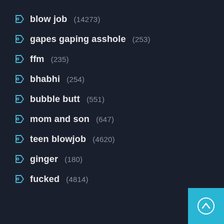blow job (14273)
gapes gaping asshole (253)
ffm (235)
bhabhi (254)
bubble butt (551)
mom and son (647)
teen blowjob (4620)
ginger (180)
fucked (4814)